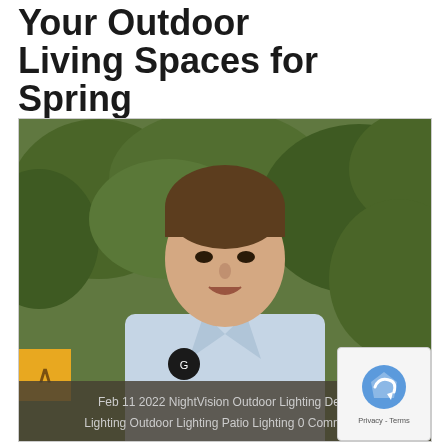Your Outdoor Living Spaces for Spring
[Figure (photo): Headshot of a smiling man in a light blue collared shirt with green foliage background. A yellow navigation arrow button is visible at lower left. A GV logo badge is on the shirt. A semi-transparent dark overlay at the bottom shows article metadata.]
Feb 11 2022   NightVision Outdoor Lighting   Deck Lighting  Outdoor Lighting  Patio Lighting      0 Comments